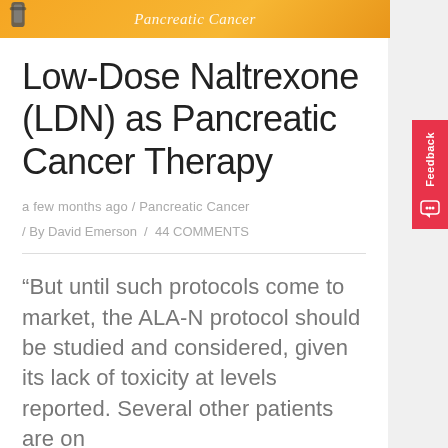[Figure (illustration): Orange banner header with italic text 'Pancreatic Cancer' and a small binder clip graphic on the left]
Low-Dose Naltrexone (LDN) as Pancreatic Cancer Therapy
a few months ago / Pancreatic Cancer
/ By David Emerson / 44 COMMENTS
“But until such protocols come to market, the ALA-N protocol should be studied and considered, given its lack of toxicity at levels reported. Several other patients are on